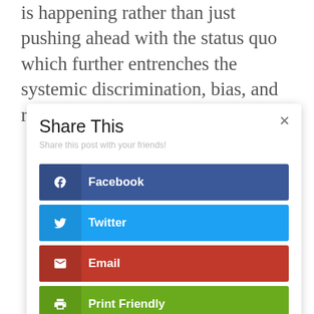is happening rather than just pushing ahead with the status quo which further entrenches the systemic discrimination, bias, and racism in our institutions.
[Figure (screenshot): Share This modal dialog with Facebook, Twitter, Email, and Print Friendly share buttons]
Share This
Share this post with your friends!